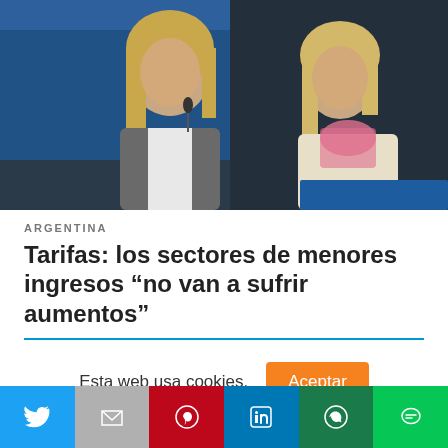[Figure (photo): Two women at a press conference or panel. On the left, a woman with long blonde hair speaks into a microphone wearing a grey blazer and white blouse with a brooch. On the right, another woman with blonde hair in a light beige jacket and pink scarf looks down at documents.]
ARGENTINA
Tarifas: los sectores de menores ingresos “no van a sufrir aumentos”
Esta web usa cookies. Aceptar
[Figure (infographic): Social media sharing bar with Twitter, Gmail/Email, Pinterest, LinkedIn, WhatsApp, and Line buttons]